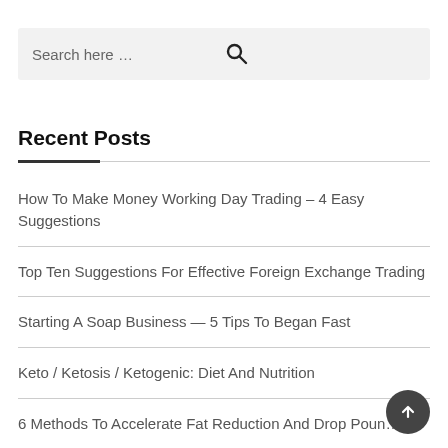Search here …
Recent Posts
How To Make Money Working Day Trading – 4 Easy Suggestions
Top Ten Suggestions For Effective Foreign Exchange Trading
Starting A Soap Business — 5 Tips To Began Fast
Keto / Ketosis / Ketogenic: Diet And Nutrition
6 Methods To Accelerate Fat Reduction And Drop Poun…